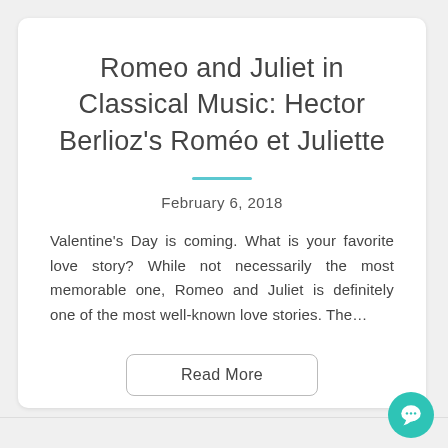Romeo and Juliet in Classical Music: Hector Berlioz's Roméo et Juliette
February 6, 2018
Valentine's Day is coming. What is your favorite love story? While not necessarily the most memorable one, Romeo and Juliet is definitely one of the most well-known love stories. The…